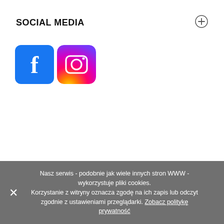SOCIAL MEDIA
[Figure (logo): Facebook logo icon — blue rounded square with white letter f]
[Figure (logo): Instagram logo icon — gradient rounded square with camera outline]
Nasz serwis - podobnie jak wiele innych stron WWW - wykorzystuje pliki cookies. Korzystanie z witryny oznacza zgodę na ich zapis lub odczyt zgodnie z ustawieniami przeglądarki. Zobacz politykę prywatność